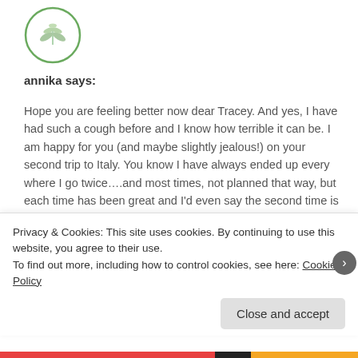[Figure (illustration): Circular avatar with green botanical/leaf illustration on white background, green circle border]
annika says:
Hope you are feeling better now dear Tracey. And yes, I have had such a cough before and I know how terrible it can be. I am happy for you (and maybe slightly jealous!) on your second trip to Italy. You know I have always ended up every where I go twice….and most times, not planned that way, but each time has been great and I'd even say the second time is more enjoyable as you are already familiar with things and know exactly how you want to spend your time there. These photos are gorgeous and I'm totally looking forward to seeing those of the next trip. As for the recipe, well, it's the season of augerbine at the moment over here. My 3 plants won't be able
Privacy & Cookies: This site uses cookies. By continuing to use this website, you agree to their use.
To find out more, including how to control cookies, see here: Cookie Policy
Close and accept